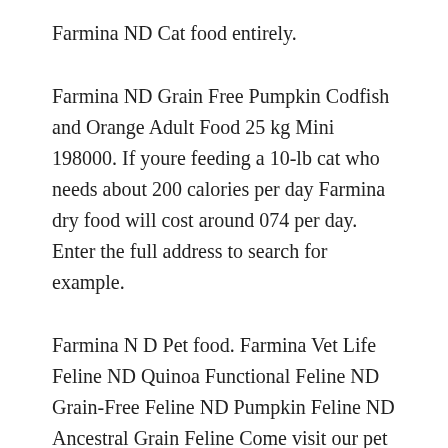Farmina ND Cat food entirely.
Farmina ND Grain Free Pumpkin Codfish and Orange Adult Food 25 kg Mini 198000. If youre feeding a 10-lb cat who needs about 200 calories per day Farmina dry food will cost around 074 per day. Enter the full address to search for example.
Farmina N D Pet food. Farmina Vet Life Feline ND Quinoa Functional Feline ND Grain-Free Feline ND Pumpkin Feline ND Ancestral Grain Feline Come visit our pet supply store in Dallas TX specializing in quality food treats and